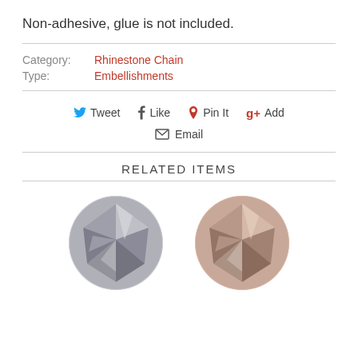Non-adhesive, glue is not included.
Category: Rhinestone Chain
Type: Embellishments
Tweet  Like  Pin It  g+ Add
Email
RELATED ITEMS
[Figure (photo): Two round faceted gemstone/rhinestone images side by side. Left gem is grayish-black, right gem is pinkish-brown/mauve.]